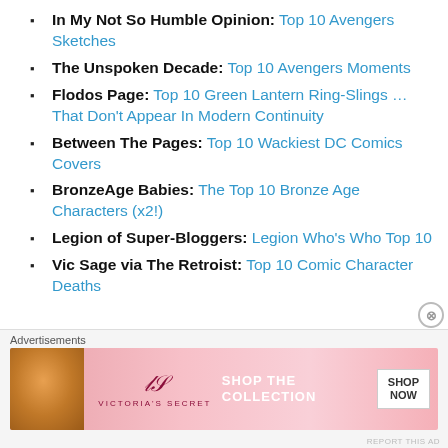In My Not So Humble Opinion: Top 10 Avengers Sketches
The Unspoken Decade: Top 10 Avengers Moments
Flodos Page: Top 10 Green Lantern Ring-Slings … That Don't Appear In Modern Continuity
Between The Pages: Top 10 Wackiest DC Comics Covers
BronzeAge Babies: The Top 10 Bronze Age Characters (x2!)
Legion of Super-Bloggers: Legion Who's Who Top 10
Vic Sage via The Retroist: Top 10 Comic Character Deaths
[Figure (advertisement): Victoria's Secret advertisement with pink background, model on left, 'SHOP THE COLLECTION' text and 'SHOP NOW' button]